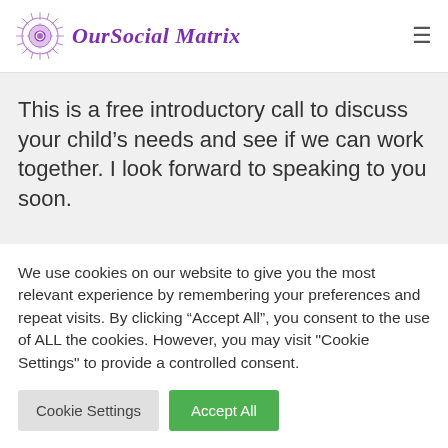OurSocial Matrix
This is a free introductory call to discuss your child's needs and see if we can work together. I look forward to speaking to you soon.
We use cookies on our website to give you the most relevant experience by remembering your preferences and repeat visits. By clicking “Accept All”, you consent to the use of ALL the cookies. However, you may visit "Cookie Settings" to provide a controlled consent.